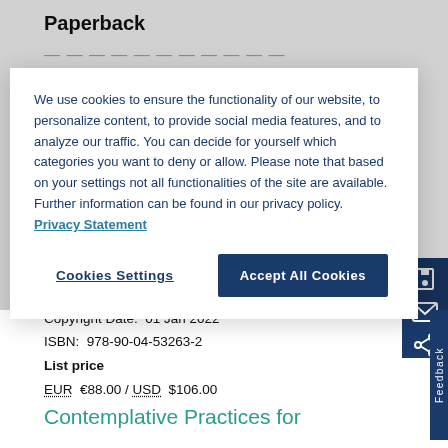Paperback
We use cookies to ensure the functionality of our website, to personalize content, to provide social media features, and to analyze our traffic. You can decide for yourself which categories you want to deny or allow. Please note that based on your settings not all functionalities of the site are available. Further information can be found in our privacy policy.  Privacy Statement
Cookies Settings   Accept All Cookies
Publication date:  08 Sep 2022
Copyright Date:  01 Jan 2022
ISBN:  978-90-04-53263-2
List price
EUR €88.00 / USD $106.00
Contemplative Practices for